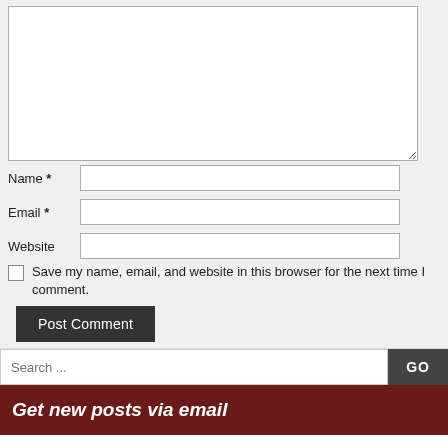[Figure (screenshot): Comment form textarea (large empty input box)]
Name *
Email *
Website
Save my name, email, and website in this browser for the next time I comment.
Post Comment
Search ...
Get new posts via email
I won't spam you
Name